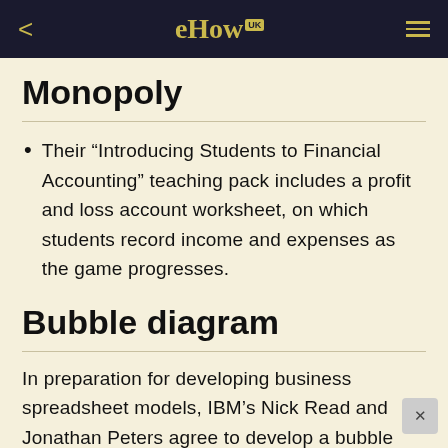eHow UK
Monopoly
Their “Introducing Students to Financial Accounting” teaching pack includes a profit and loss account worksheet, on which students record income and expenses as the game progresses.
Bubble diagram
In preparation for developing business spreadsheet models, IBM’s Nick Read and Jonathan Peters agree to develop a bubble diagram